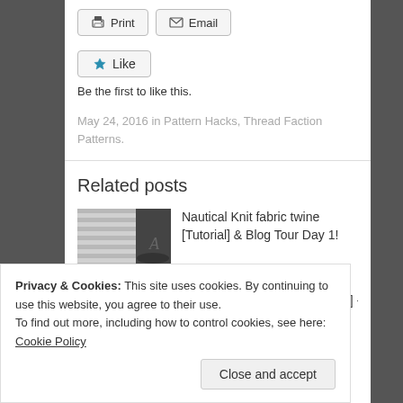[Figure (screenshot): Print and Email buttons at top of blog post]
[Figure (screenshot): Like button with star icon]
Be the first to like this.
May 24, 2016 in Pattern Hacks, Thread Faction Patterns.
Related posts
[Figure (photo): Thumbnail for Nautical Knit fabric twine post]
Nautical Knit fabric twine [Tutorial] & Blog Tour Day 1!
[Figure (photo): Thumbnail for T-Shirt to Shorts post]
T-Shirt to Shorts [Free Pattern] + Blog
Privacy & Cookies: This site uses cookies. By continuing to use this website, you agree to their use.
To find out more, including how to control cookies, see here: Cookie Policy
Close and accept